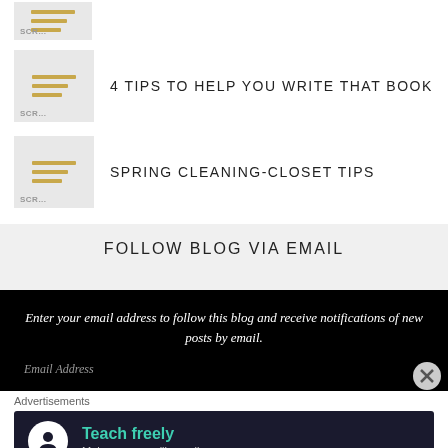[Figure (screenshot): Thumbnail icon with horizontal golden lines for a blog post, partially visible at top]
4 TIPS TO HELP YOU WRITE THAT BOOK
SPRING CLEANING-CLOSET TIPS
FOLLOW BLOG VIA EMAIL
Enter your email address to follow this blog and receive notifications of new posts by email.
Email Address
Advertisements
[Figure (illustration): Advertisement banner: dark background with circular icon showing a person figure and text 'Teach freely - Make money selling online courses.']